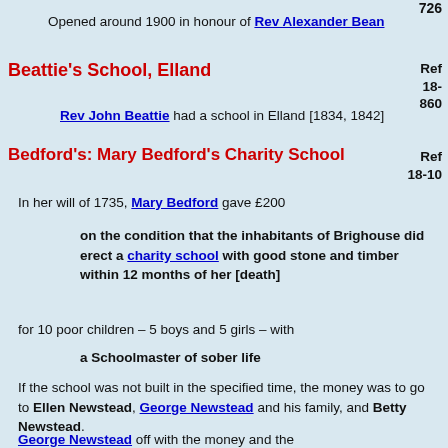726
Opened around 1900 in honour of Rev Alexander Bean
Beattie's School, Elland
Ref 18-860
Rev John Beattie had a school in Elland [1834, 1842]
Bedford's: Mary Bedford's Charity School
Ref 18-10
In her will of 1735, Mary Bedford gave £200
on the condition that the inhabitants of Brighouse did erect a charity school with good stone and timber within 12 months of her [death]
for 10 poor children – 5 boys and 5 girls – with
a Schoolmaster of sober life
If the school was not built in the specified time, the money was to go to Ellen Newstead, George Newstead and his family, and Betty Newstead.
George Newstead ...